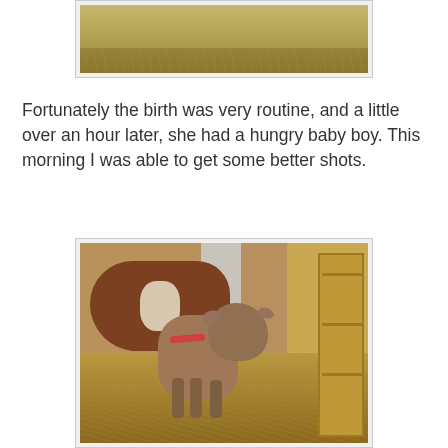[Figure (photo): Partial photo of goats in hay/barn setting, cropped at top — only bottom portion of the image visible]
Fortunately the birth was very routine, and a little over an hour later, she had a hungry baby boy. This morning I was able to get some better shots.
[Figure (photo): A baby goat (kid) standing in hay next to its mother goat in a barn. The baby is brown/tan colored and the mother has a pink collar. Hay bales and concrete block wall visible in background.]